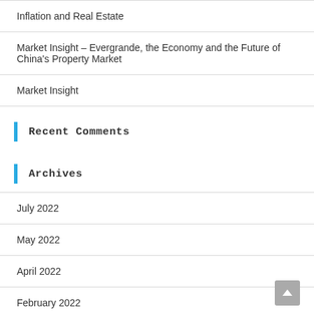Inflation and Real Estate
Market Insight – Evergrande, the Economy and the Future of China's Property Market
Market Insight
Recent Comments
Archives
July 2022
May 2022
April 2022
February 2022
December 2021